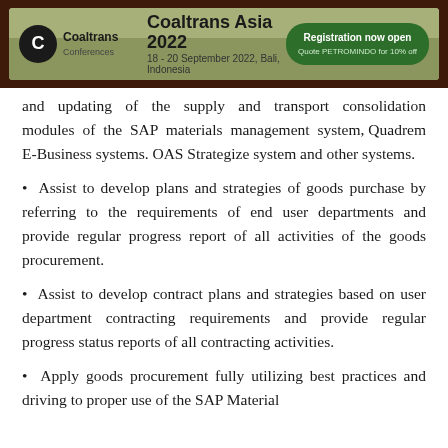[Figure (other): Coaltrans Asia 2022 conference banner. Logo on left, event title 'Coaltrans Asia 2022', date '18 - 20 September 2022, Bali, Indonesia', and green 'Registration now open' button on right.]
and updating of the supply and transport consolidation modules of the SAP materials management system, Quadrem E-Business systems. OAS Strategize system and other systems.
Assist to develop plans and strategies of goods purchase by referring to the requirements of end user departments and provide regular progress report of all activities of the goods procurement.
Assist to develop contract plans and strategies based on user department contracting requirements and provide regular progress status reports of all contracting activities.
Apply goods procurement fully utilizing best practices and driving to proper use of the SAP Material...